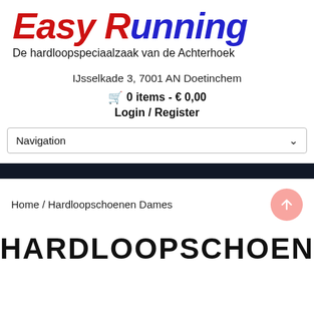[Figure (logo): Easy Running logo with 'Easy' in red italic and 'Running' in blue italic, large stylized text]
De hardloopspeciaalzaak van de Achterhoek
IJsselkade 3, 7001 AN Doetinchem
🛒 0 items - € 0,00
Login / Register
Navigation
Home / Hardloopschoenen Dames
HARDLOOPSCHOENEN